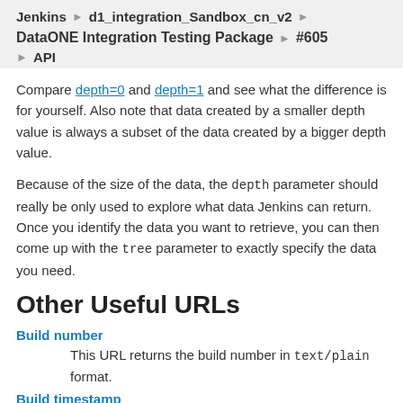Jenkins › d1_integration_Sandbox_cn_v2 › DataONE Integration Testing Package › #605 › API
Compare depth=0 and depth=1 and see what the difference is for yourself. Also note that data created by a smaller depth value is always a subset of the data created by a bigger depth value.
Because of the size of the data, the depth parameter should really be only used to explore what data Jenkins can return. Once you identify the data you want to retrieve, you can then come up with the tree parameter to exactly specify the data you need.
Other Useful URLs
Build number
This URL returns the build number in text/plain format.
Build timestamp
This URL returns the build timestamp. You can also use the format query parameter to control the date format, which